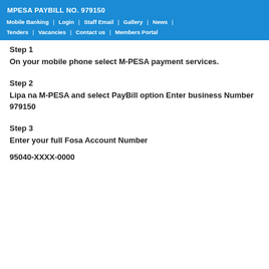MPESA PAYBILL NO. 979150
Mobile Banking | Login | Staff Email | Gallery | News | Tenders | Vacancies | Contact us | Members Portal
Step 1
On your mobile phone select M-PESA payment services.
Step 2
Lipa na M-PESA and select PayBill option Enter business Number 979150
Step 3
Enter your full Fosa Account Number
95040-XXXX-0000